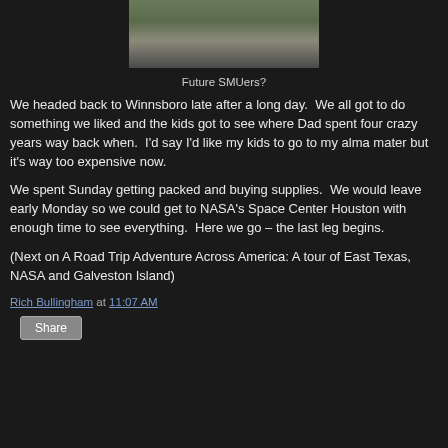[Figure (photo): Photo of people standing outdoors on a sidewalk/patio area, cropped at top showing lower portion]
Future SMUers?
We headed back to Winnsboro late after a long day.  We all got to do something we liked and the kids got to see where Dad spent four crazy years way back when.  I'd say I'd like my kids to go to my alma mater but it's way too expensive now.
We spent Sunday getting packed and buying supplies.  We would leave early Monday so we could get to NASA's Space Center Houston with enough time to see everything.  Here we go – the last leg begins.
(Next on A Road Trip Adventure Across America: A tour of East Texas, NASA and Galveston Island)
Rich Bullingham at 11:07 AM
Share